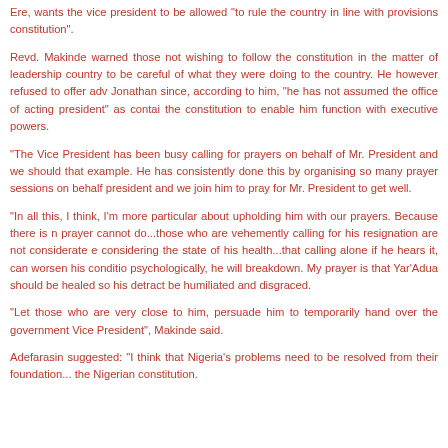Ere, wants the vice president to be allowed "to rule the country in line with provisions constitution".
Revd. Makinde warned those not wishing to follow the constitution in the matter of leadership country to be careful of what they were doing to the country. He however refused to offer adv Jonathan since, according to him, "he has not assumed the office of acting president" as contai the constitution to enable him function with executive powers.
"The Vice President has been busy calling for prayers on behalf of Mr. President and we should that example. He has consistently done this by organising so many prayer sessions on behalf president and we join him to pray for Mr. President to get well.
"In all this, I think, I'm more particular about upholding him with our prayers. Because there is n prayer cannot do...those who are vehemently calling for his resignation are not considerate e considering the state of his health...that calling alone if he hears it, can worsen his conditio psychologically, he will breakdown. My prayer is that Yar'Adua should be healed so his detract be humiliated and disgraced.
"Let those who are very close to him, persuade him to temporarily hand over the government Vice President", Makinde said.
Adefarasin suggested: "I think that Nigeria's problems need to be resolved from their foundation... the Nigerian constitution.